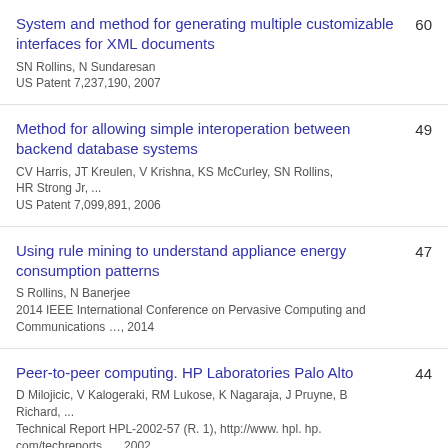System and method for generating multiple customizable interfaces for XML documents
SN Rollins, N Sundaresan
US Patent 7,237,190, 2007
60
Method for allowing simple interoperation between backend database systems
CV Harris, JT Kreulen, V Krishna, KS McCurley, SN Rollins, HR Strong Jr, ...
US Patent 7,099,891, 2006
49
Using rule mining to understand appliance energy consumption patterns
S Rollins, N Banerjee
2014 IEEE International Conference on Pervasive Computing and Communications …, 2014
47
Peer-to-peer computing. HP Laboratories Palo Alto
D Milojicic, V Kalogeraki, RM Lukose, K Nagaraja, J Pruyne, B Richard, ...
Technical Report HPL-2002-57 (R. 1), http://www. hpl. hp. com/techreports …, 2002
44